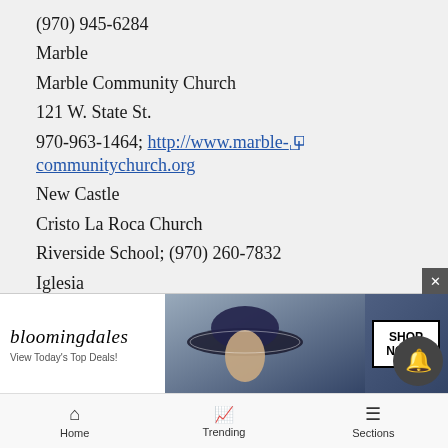(970) 945-6284
Marble
Marble Community Church
121 W. State St.
970-963-1464; http://www.marble-communitychurch.org
New Castle
Cristo La Roca Church
Riverside School; (970) 260-7832
Iglesia
423 W
[Figure (screenshot): Bloomingdales advertisement banner: 'View Today's Top Deals!' with SHOP NOW button and woman wearing hat]
Home  Trending  Sections